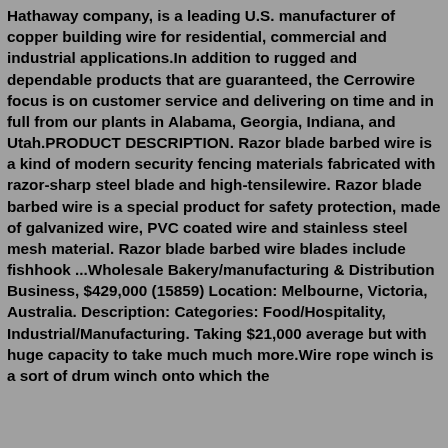Hathaway company, is a leading U.S. manufacturer of copper building wire for residential, commercial and industrial applications.In addition to rugged and dependable products that are guaranteed, the Cerrowire focus is on customer service and delivering on time and in full from our plants in Alabama, Georgia, Indiana, and Utah.PRODUCT DESCRIPTION. Razor blade barbed wire is a kind of modern security fencing materials fabricated with razor-sharp steel blade and high-tensilewire. Razor blade barbed wire is a special product for safety protection, made of galvanized wire, PVC coated wire and stainless steel mesh material. Razor blade barbed wire blades include fishhook ...Wholesale Bakery/manufacturing & Distribution Business, $429,000 (15859) Location: Melbourne, Victoria, Australia. Description: Categories: Food/Hospitality, Industrial/Manufacturing. Taking $21,000 average but with huge capacity to take much much more.Wire rope winch is a sort of drum winch onto which the